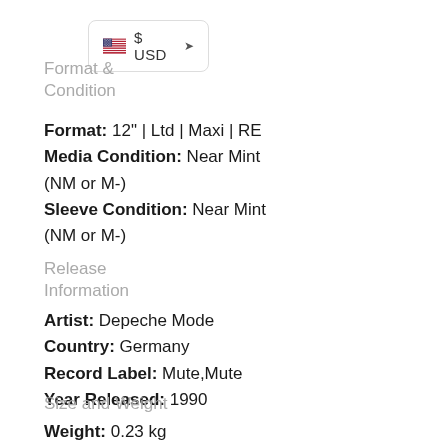[Figure (other): Currency selector widget showing US flag and $ USD with dropdown arrow]
Format & Condition
Format:  12" | Ltd | Maxi | RE
Media Condition:  Near Mint (NM or M-)
Sleeve Condition:  Near Mint (NM or M-)
Release Information
Artist:  Depeche Mode
Country:  Germany
Record Label:  Mute,Mute
Year Released:  1990
Size and Weight
Weight:  0.23 kg